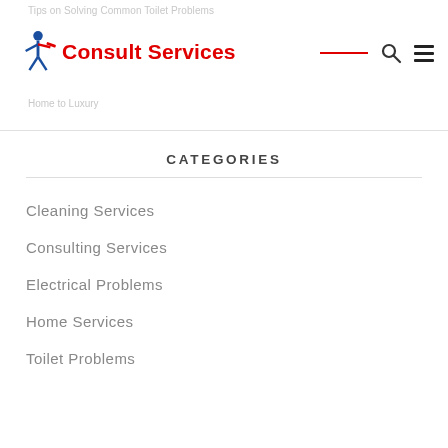Tips on Solving Common Toilet Problems - Consult Services
[Figure (logo): Consult Services logo with handyman figure icon in blue and red, and red bold text 'Consult Services']
CATEGORIES
Cleaning Services
Consulting Services
Electrical Problems
Home Services
Toilet Problems